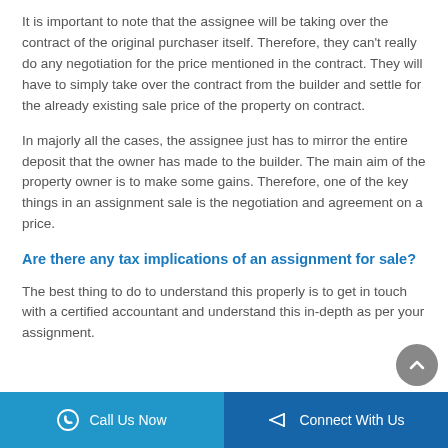It is important to note that the assignee will be taking over the contract of the original purchaser itself. Therefore, they can't really do any negotiation for the price mentioned in the contract. They will have to simply take over the contract from the builder and settle for the already existing sale price of the property on contract.
In majorly all the cases, the assignee just has to mirror the entire deposit that the owner has made to the builder. The main aim of the property owner is to make some gains. Therefore, one of the key things in an assignment sale is the negotiation and agreement on a price.
Are there any tax implications of an assignment for sale?
The best thing to do to understand this properly is to get in touch with a certified accountant and understand this in-depth as per your assignment.
Call Us Now | Connect With Us